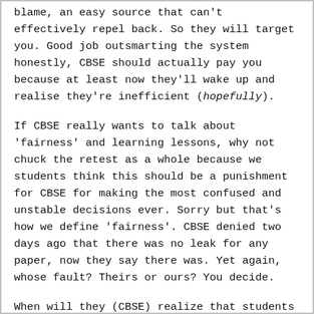blame, an easy source that can't effectively repel back. So they will target you. Good job outsmarting the system honestly, CBSE should actually pay you because at least now they'll wake up and realise they're inefficient (hopefully).
If CBSE really wants to talk about ‘fairness’ and learning lessons, why not chuck the retest as a whole because we students think this should be a punishment for CBSE for making the most confused and unstable decisions ever. Sorry but that’s how we define ‘fairness’. CBSE denied two days ago that there was no leak for any paper, now they say there was. Yet again, whose fault? Theirs or ours? You decide.
When will they (CBSE) realize that students will not stop their attempts to leak papers and cheat in the examinations as long as their system keeps judging us with the ‘one size fits all’ crap?
Something to ponder upon: what if years later when I’m